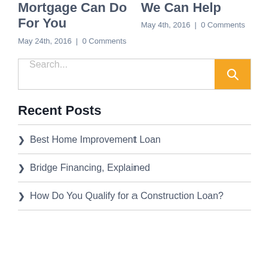Mortgage Can Do For You
May 24th, 2016  |  0 Comments
We Can Help
May 4th, 2016  |  0 Comments
Search...
Recent Posts
Best Home Improvement Loan
Bridge Financing, Explained
How Do You Qualify for a Construction Loan?